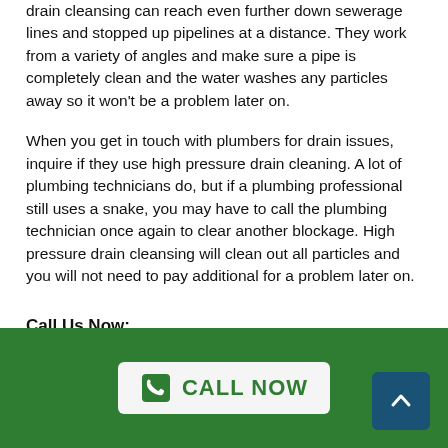drain cleansing can reach even further down sewerage lines and stopped up pipelines at a distance. They work from a variety of angles and make sure a pipe is completely clean and the water washes any particles away so it won't be a problem later on.
When you get in touch with plumbers for drain issues, inquire if they use high pressure drain cleaning. A lot of plumbing technicians do, but if a plumbing professional still uses a snake, you may have to call the plumbing technician once again to clear another blockage. High pressure drain cleansing will clean out all particles and you will not need to pay additional for a problem later on.
Call Us Now:
CALL NOW